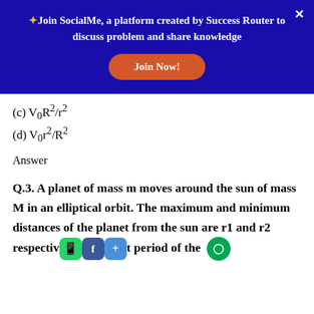[Figure (screenshot): Dark blue promotional banner for SocialMe platform by Success Router with a 'Join Now!' button in orange-red, a gold star icon, and a white × close button.]
(c) V₀R²/r²
(d) V₀r²/R²
Answer
Q.3. A planet of mass m moves around the sun of mass M in an elliptical orbit. The maximum and minimum distances of the planet from the sun are r1 and r2 respectively. The period of the planet is proportional to